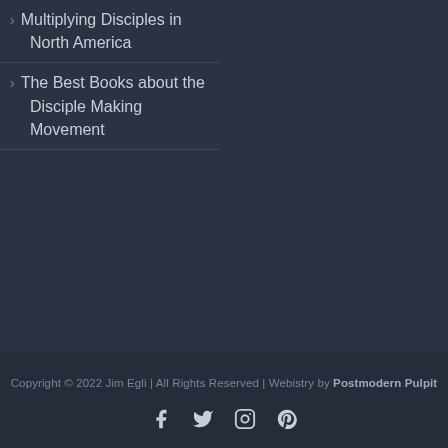Multiplying Disciples in North America
The Best Books about the Disciple Making Movement
Copyright © 2022 Jim Egli | All Rights Reserved | Webistry by Postmodern Pulpit